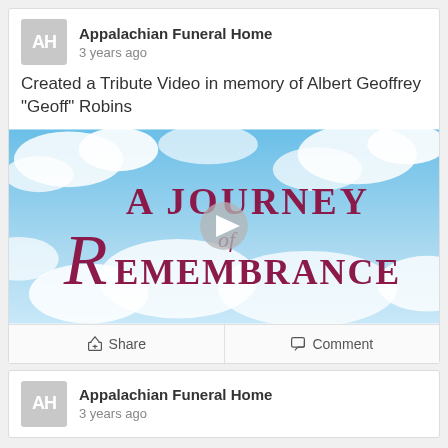Appalachian Funeral Home
3 years ago
Created a Tribute Video in memory of Albert Geoffrey "Geoff" Robins
[Figure (screenshot): Video thumbnail titled 'A Journey of Remembrance' showing blue sky with clouds and a play button in the center]
Share   Comment
Appalachian Funeral Home
3 years ago